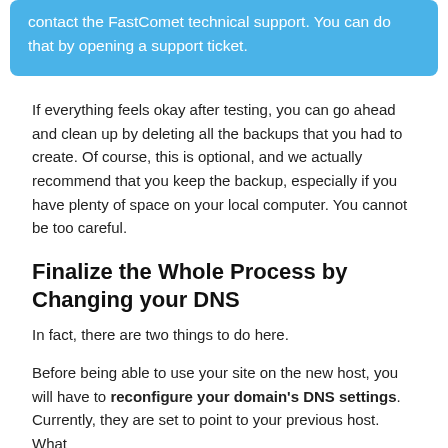contact the FastComet technical support. You can do that by opening a support ticket.
If everything feels okay after testing, you can go ahead and clean up by deleting all the backups that you had to create. Of course, this is optional, and we actually recommend that you keep the backup, especially if you have plenty of space on your local computer. You cannot be too careful.
Finalize the Whole Process by Changing your DNS
In fact, there are two things to do here.
Before being able to use your site on the new host, you will have to reconfigure your domain's DNS settings. Currently, they are set to point to your previous host. What you need to do is point them to your new host. By